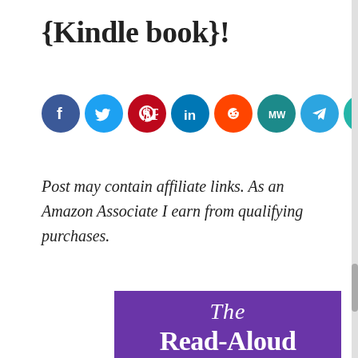{Kindle book}!
[Figure (infographic): Row of 9 social media sharing icon circles: Facebook (dark blue), Twitter (light blue), Pinterest (red), LinkedIn (teal/blue), Reddit (orange-red), MeWe (teal, MW), Telegram (blue), Print (teal, printer icon), Share (orange, share icon)]
Post may contain affiliate links. As an Amazon Associate I earn from qualifying purchases.
[Figure (photo): Purple book cover with white text reading 'The Read-Aloud Treasury' in elegant serif font]